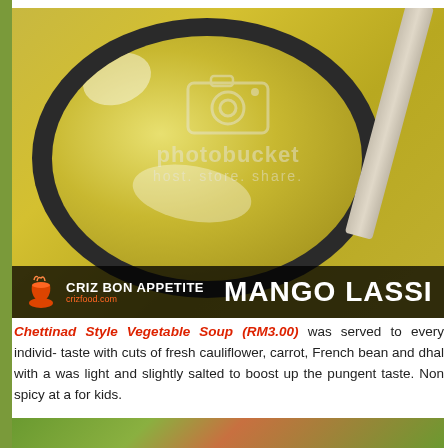[Figure (photo): A glass bowl containing Mango Lassi (yellow-green drink) with a white straw/spoon, photographed from above on a yellow surface. The image has a Photobucket watermark with camera icon and text 'photobucket host. store. share.' The Criz Bon Appetite logo and crizfood.com site label appear in the bottom-left of the photo. The text 'MANGO LASSI' appears in white bold font on the right side of the image overlay bar.]
Chettinad Style Vegetable Soup (RM3.00) was served to every individ... taste with cuts of fresh cauliflower, carrot, French bean and dhal with a... was light and slightly salted to boost up the pungent taste. Non spicy at a... for kids.
[Figure (photo): Bottom portion of a photo showing colorful vegetables (orange carrot visible) on a green background — partial view of a vegetable dish.]